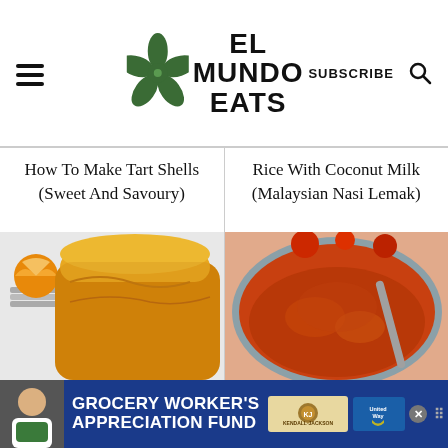EL MUNDO EATS
How To Make Tart Shells (Sweet And Savoury)
Rice With Coconut Milk (Malaysian Nasi Lemak)
[Figure (photo): Yellow loaf of bread with orange halves on stacked plates in background]
[Figure (photo): Red curry or sambal in a blue ceramic bowl]
[Figure (photo): Advertisement banner: GROCERY WORKER'S APPRECIATION FUND with Kendall-Jackson and United Way logos]